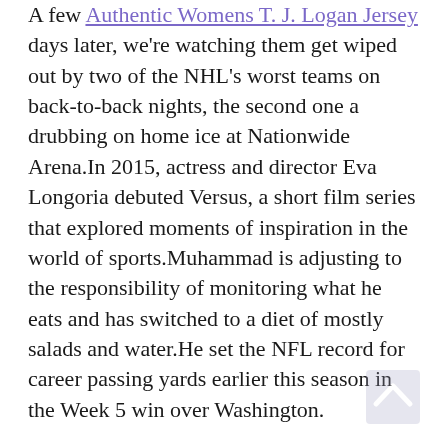A few Authentic Womens T. J. Logan Jersey days later, we're watching them get wiped out by two of the NHL's worst teams on back-to-back nights, the second one a drubbing on home ice at Nationwide Arena.In 2015, actress and director Eva Longoria debuted Versus, a short film series that explored moments of inspiration in the world of sports.Muhammad is adjusting to the responsibility of monitoring what he eats and has switched to a diet of mostly salads and water.He set the NFL record for career passing yards earlier this season in the Week 5 win over Washington.
There are a couple of key points contained within Montgomery's quote.It took a while to get interesting, but a furious comeback fell just short in Sunrise.If you would like to search for all players born on a certain day, for example all players born on December 25th in